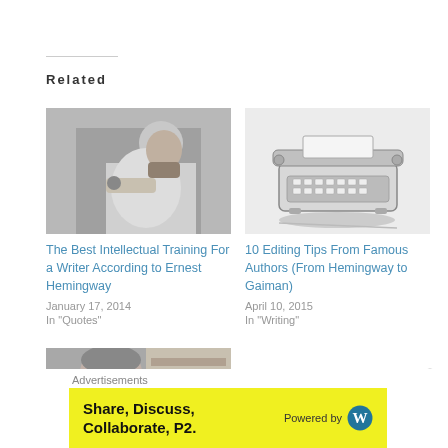Related
[Figure (photo): Black and white photo of a bearded man in a white shirt]
The Best Intellectual Training For a Writer According to Ernest Hemingway
January 17, 2014
In "Quotes"
[Figure (illustration): Sketch illustration of an antique typewriter]
10 Editing Tips From Famous Authors (From Hemingway to Gaiman)
April 10, 2015
In "Writing"
[Figure (photo): Black and white photo of a woman]
Advertisements
[Figure (infographic): Yellow advertisement banner: Share, Discuss, Collaborate, P2. Powered by WordPress logo]